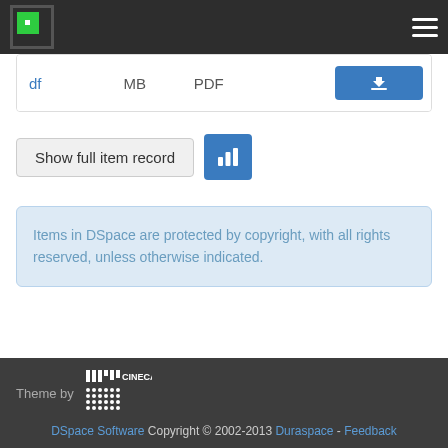DSpace navigation header with logo and hamburger menu
| Name | Size | Format | Action |
| --- | --- | --- | --- |
| df | MB | PDF | [Download] |
Show full item record
Items in DSpace are protected by copyright, with all rights reserved, unless otherwise indicated.
Theme by CINECA | DSpace Software Copyright © 2002-2013 Duraspace - Feedback